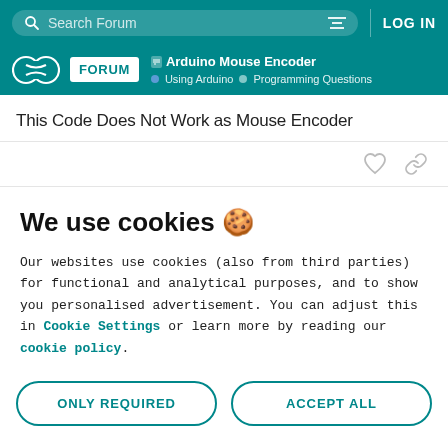Search Forum | LOG IN
Arduino Mouse Encoder | Using Arduino | Programming Questions
This Code Does Not Work as Mouse Encoder
We use cookies 🍪
Our websites use cookies (also from third parties) for functional and analytical purposes, and to show you personalised advertisement. You can adjust this in Cookie Settings or learn more by reading our cookie policy.
ONLY REQUIRED
ACCEPT ALL